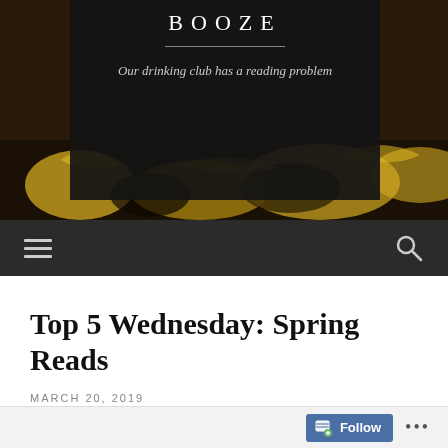[Figure (screenshot): Website header with dark overlay panel showing site title BOOZE in large letters, a horizontal rule, and tagline text. Background shows decorative gold and dark art imagery.]
BOOZE
Our drinking club has a reading problem
Navigation bar with hamburger menu icon and search icon
Top 5 Wednesday: Spring Reads
MARCH 20, 2019
Follow ...